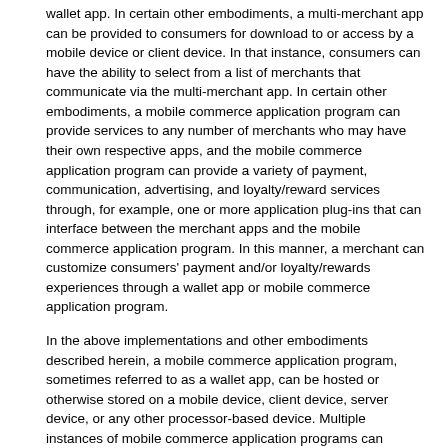wallet app. In certain other embodiments, a multi-merchant app can be provided to consumers for download to or access by a mobile device or client device. In that instance, consumers can have the ability to select from a list of merchants that communicate via the multi-merchant app. In certain other embodiments, a mobile commerce application program can provide services to any number of merchants who may have their own respective apps, and the mobile commerce application program can provide a variety of payment, communication, advertising, and loyalty/reward services through, for example, one or more application plug-ins that can interface between the merchant apps and the mobile commerce application program. In this manner, a merchant can customize consumers' payment and/or loyalty/rewards experiences through a wallet app or mobile commerce application program.
In the above implementations and other embodiments described herein, a mobile commerce application program, sometimes referred to as a wallet app, can be hosted or otherwise stored on a mobile device, client device, server device, or any other processor-based device. Multiple instances of mobile commerce application programs can operate within a network environment, such as described in FIG. 1, and each may have similar or different functionality, such as described in FIG. 2, according to various embodiments and implementations as described herein.
Certain Example Implementations and Embodiments